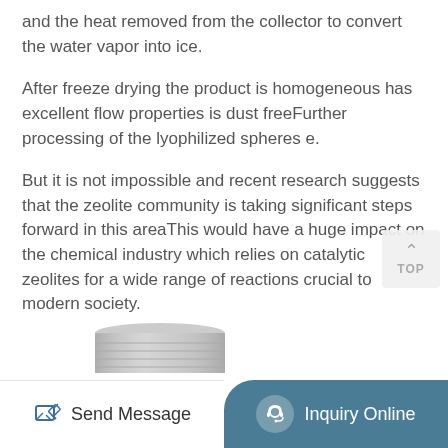and the heat removed from the collector to convert the water vapor into ice.
After freeze drying the product is homogeneous has excellent flow properties is dust freeFurther processing of the lyophilized spheres e.
But it is not impossible and recent research suggests that the zeolite community is taking significant steps forward in this areaThis would have a huge impact on the chemical industry which relies on catalytic zeolites for a wide range of reactions crucial to modern society.
[Figure (photo): Partial view of a cylindrical metallic industrial container/drum at the bottom of the page]
Send Message | Inquiry Online